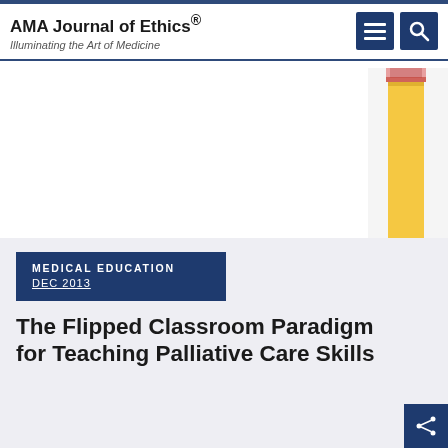AMA Journal of Ethics® — Illuminating the Art of Medicine
[Figure (illustration): Partial illustration of colorful pencils/art supplies on the right side of the hero image area, showing yellow and warm tones against a white background]
MEDICAL EDUCATION
DEC 2013
The Flipped Classroom Paradigm for Teaching Palliative Care Skills